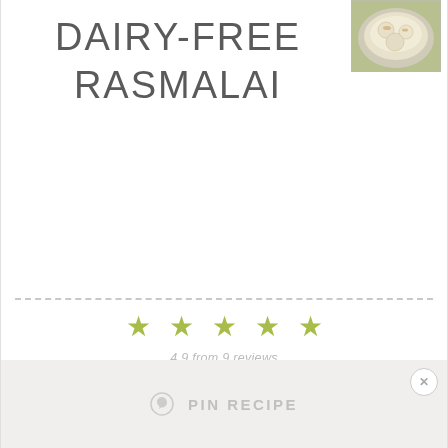[Figure (photo): Photo of rasmalai dessert in a bowl, top-right corner]
DAIRY-FREE RASMALAI
4.9 from 9 reviews
PREP TIME: 40 MINUTES   COOK TIME: 15 MINUTES   YIELD: 7 RASMALAI BALLS   CATEGORY: PUDDING   METHOD: BAKED   CUISINE: DESSERT
[Figure (infographic): PRINT RECIPE button with printer icon]
[Figure (infographic): PIN RECIPE button with Pinterest icon and X close button]